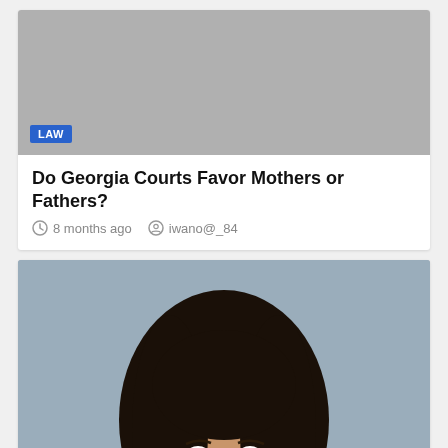[Figure (photo): Gray placeholder image with LAW badge in bottom-left corner]
Do Georgia Courts Favor Mothers or Fathers?
8 months ago   iwano@_84
[Figure (photo): Professional headshot of a smiling woman with long dark hair against a gray background, with LAW badge in bottom-left corner]
Labor Legislation: Your staff offers a letter